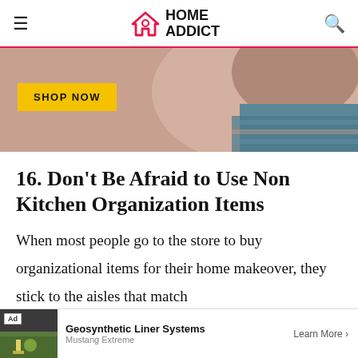HOME ADDICT
[Figure (photo): Close-up photo of a man's face and neck with a yellow 'SHOP NOW' button overlay]
16. Don't Be Afraid to Use Non Kitchen Organization Items
When most people go to the store to buy organizational items for their home makeover, they stick to the aisles that match
Advertisement
[Figure (photo): Bottom advertisement banner: Geosynthetic Liner Systems by Mustang Extreme with Learn More button]